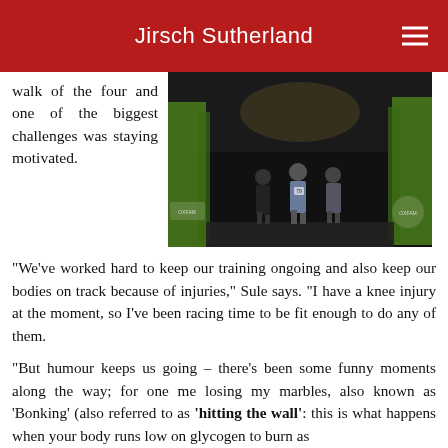Jirsch Sutherland
walk of the four and one of the biggest challenges was staying motivated.
[Figure (photo): Runners at night passing through an Oxfam Trailwalker finish/start gate with green banners lit up in the dark.]
“We’ve worked hard to keep our training ongoing and also keep our bodies on track because of injuries,” Sule says. “I have a knee injury at the moment, so I’ve been racing time to be fit enough to do any of them.
“But humour keeps us going – there’s been some funny moments along the way; for one me losing my marbles, also known as ‘Bonking’ (also referred to as ‘hitting the wall’: this is what happens when your body runs low on glycogen to burn as